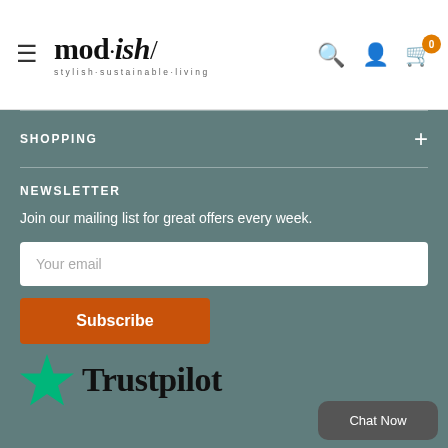mod·ish/ stylish·sustainable·living
SHOPPING
NEWSLETTER
Join our mailing list for great offers every week.
Your email
Subscribe
[Figure (logo): Trustpilot logo with green star]
Chat Now